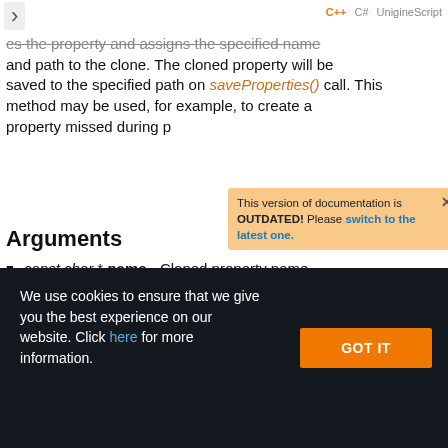C++ C# UnigineScript
es the property and assigns the specified name and path to the clone. The cloned property will be saved to the specified path on saveProperties() call. This method may be used, for example, to create a property missed during p
This version of documentation is OUTDATED! Please switch to the latest one.
Arguments
const char * name - Cloned property name.
We use cookies to ensure that we give you the best experience on our website. Click here for more information.